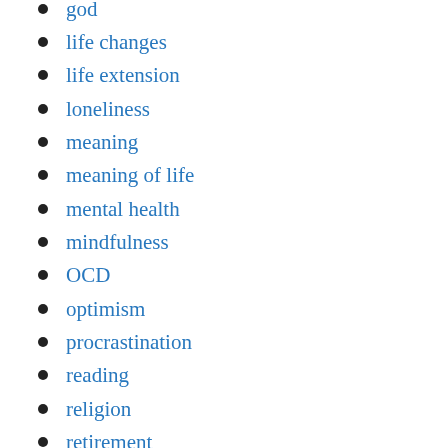god
life changes
life extension
loneliness
meaning
meaning of life
mental health
mindfulness
OCD
optimism
procrastination
reading
religion
retirement
SAD seasonal affect disorder
stigma